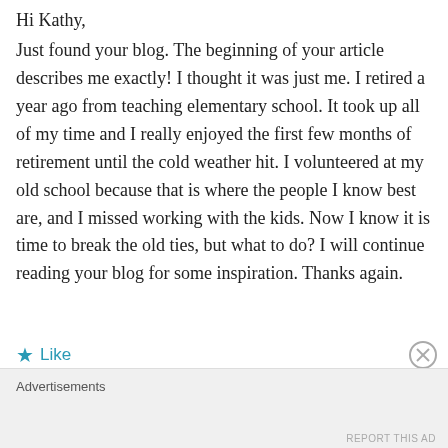Hi Kathy,
Just found your blog. The beginning of your article describes me exactly! I thought it was just me. I retired a year ago from teaching elementary school. It took up all of my time and I really enjoyed the first few months of retirement until the cold weather hit. I volunteered at my old school because that is where the people I know best are, and I missed working with the kids. Now I know it is time to break the old ties, but what to do? I will continue reading your blog for some inspiration. Thanks again.
Like
Advertisements
REPORT THIS AD